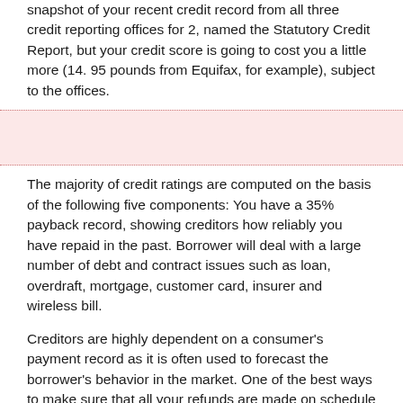snapshot of your recent credit record from all three credit reporting offices for 2, named the Statutory Credit Report, but your credit score is going to cost you a little more (14. 95 pounds from Equifax, for example), subject to the offices.
[Figure (other): Pink highlighted box with dotted top and bottom borders]
The majority of credit ratings are computed on the basis of the following five components: You have a 35% payback record, showing creditors how reliably you have repaid in the past. Borrower will deal with a large number of debt and contract issues such as loan, overdraft, mortgage, customer card, insurer and wireless bill.
Creditors are highly dependent on a consumer's payment record as it is often used to forecast the borrower's behavior in the market. One of the best ways to make sure that all your refunds are made on schedule or early is if you have a bad British credit rating and are trying to enhance it.
Their creditworthiness assesses how many debts you have remaining in relation to the amount of credit available to you. It is referred to as your usage level, which is 30% of your score